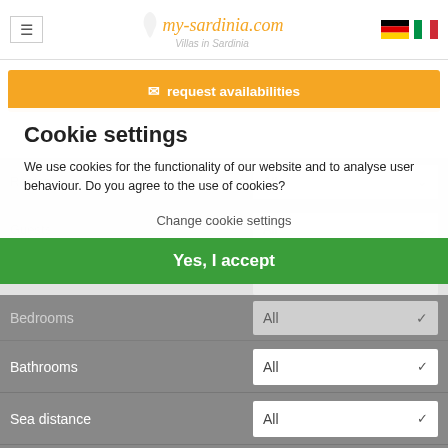my-sardinia.com – Villas in Sardinia
request availabilities
Cookie settings
We use cookies for the functionality of our website and to analyse user behaviour. Do you agree to the use of cookies?
Change cookie settings
Yes, I accept
Bathrooms – All
Sea distance – All
Type of accom. – All